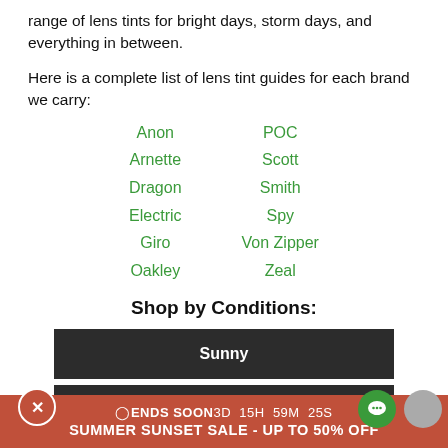range of lens tints for bright days, storm days, and everything in between.
Here is a complete list of lens tint guides for each brand we carry:
Anon
POC
Arnette
Scott
Dragon
Smith
Electric
Spy
Giro
Von Zipper
Oakley
Zeal
Shop by Conditions:
Sunny
Partly Cloudy / All Around
ENDS SOON 3D 15H 59M 25S
SUMMER SUNSET SALE - UP TO 50% OFF